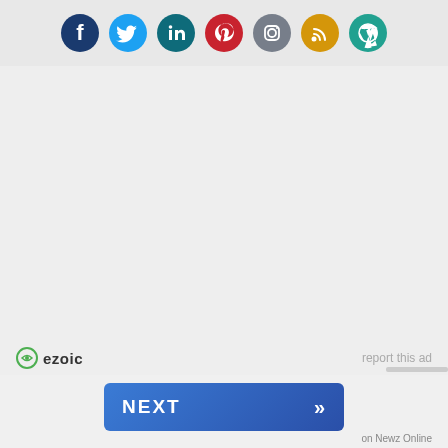[Figure (infographic): Social media icon bar with 7 circular icons: Facebook (dark blue), Twitter (light blue), LinkedIn (dark teal), Pinterest (red), Instagram (gray), RSS (orange), WordPress (teal/green)]
[Figure (infographic): Large gray ad placeholder area with ezoic logo and 'report this ad' text]
report this ad
[Figure (infographic): Blue NEXT button with double chevron arrow, labeled 'on Newz Online']